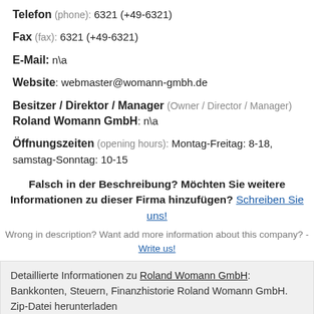Telefon (phone): 6321 (+49-6321)
Fax (fax): 6321 (+49-6321)
E-Mail: n\a
Website: webmaster@womann-gmbh.de
Besitzer / Direktor / Manager (Owner / Director / Manager) Roland Womann GmbH: n\a
Öffnungszeiten (opening hours): Montag-Freitag: 8-18, samstag-Sonntag: 10-15
Falsch in der Beschreibung? Möchten Sie weitere Informationen zu dieser Firma hinzufügen? Schreiben Sie uns! Wrong in description? Want add more information about this company? - Write us!
Detaillierte Informationen zu Roland Womann GmbH: Bankkonten, Steuern, Finanzhistorie Roland Womann GmbH. Zip-Datei herunterladen Get detail info about Roland Womann GmbH: bank accounts, tax,